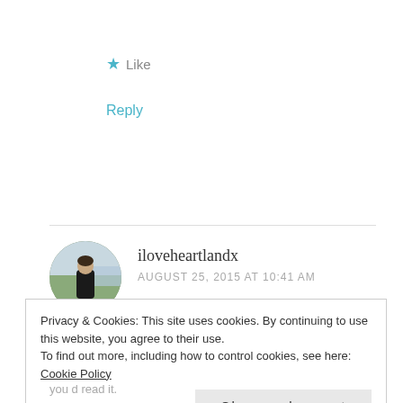★ Like
Reply
iloveheartlandx
AUGUST 25, 2015 AT 10:41 AM
[Figure (photo): Circular avatar photo of a person standing outdoors near water]
Privacy & Cookies: This site uses cookies. By continuing to use this website, you agree to their use.
To find out more, including how to control cookies, see here: Cookie Policy
Close and accept
you d read it.